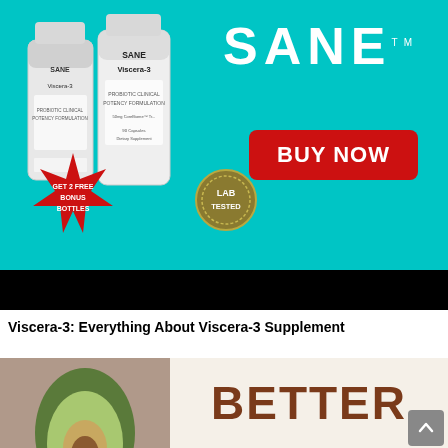[Figure (photo): SANE Viscera-3 supplement advertisement banner on teal background showing product bottles, GET 2 FREE BONUS BOTTLES starburst, LAB TESTED badge, SANE logo, and BUY NOW red button]
Viscera-3: Everything About Viscera-3 Supplement
[Figure (photo): Two-panel image: left side shows a sliced avocado on brown/beige background, right side shows the word BETTER in large bold brown text on cream background]